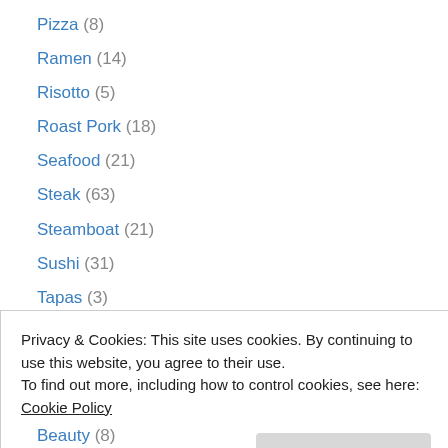Pizza (8)
Ramen (14)
Risotto (5)
Roast Pork (18)
Seafood (21)
Steak (63)
Steamboat (21)
Sushi (31)
Tapas (3)
Teppanyaki (2)
Tiramisu (11)
Waffles (2)
Xiao Long Bao (10)
Privacy & Cookies: This site uses cookies. By continuing to use this website, you agree to their use. To find out more, including how to control cookies, see here: Cookie Policy
Beauty (8)